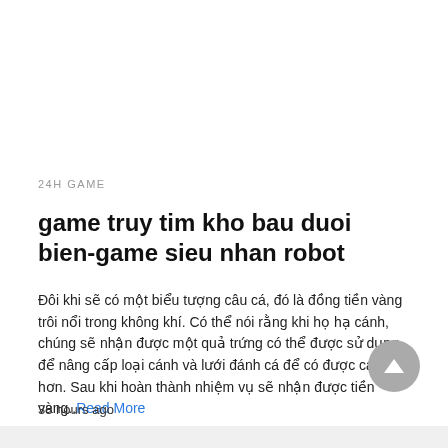24H GAME
game truy tim kho bau duoi bien-game sieu nhan robot
Đôi khi sẽ có một biểu tượng câu cá, đó là đồng tiền vàng trôi nổi trong không khí. Có thể nói rằng khi họ hạ cánh, chúng sẽ nhận được một quả trứng có thể được sử dụng để nâng cấp loại cánh và lưới đánh cá để có được cá lớn hơn. Sau khi hoàn thành nhiệm vụ sẽ nhận được tiền vàng..Read More
38 hours ago